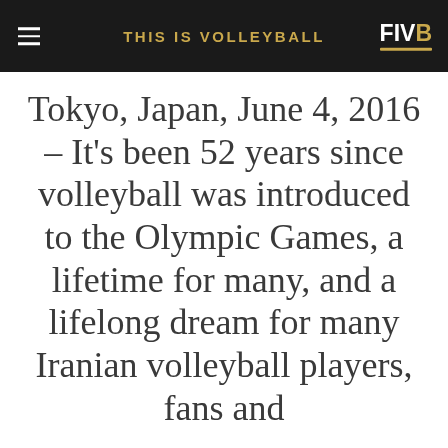THIS IS VOLLEYBALL | FIVB
Tokyo, Japan, June 4, 2016 – It's been 52 years since volleyball was introduced to the Olympic Games, a lifetime for many, and a lifelong dream for many Iranian volleyball players, fans and